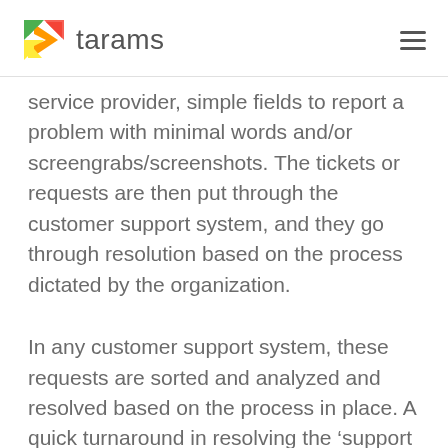tarams
service provider, simple fields to report a problem with minimal words and/or screengrabs/screenshots. The tickets or requests are then put through the customer support system, and they go through resolution based on the process dictated by the organization.
In any customer support system, these requests are sorted and analyzed and resolved based on the process in place. A quick turnaround in resolving the ‘support